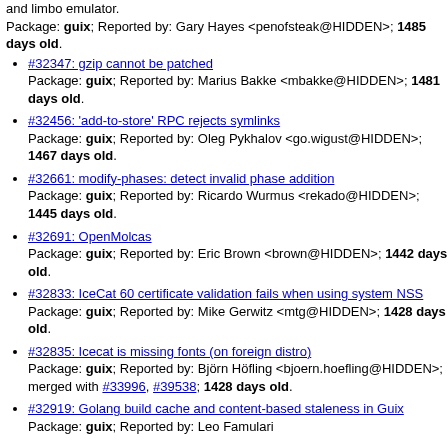and limbo emulator. Package: guix; Reported by: Gary Hayes <penofsteak@HIDDEN>; 1485 days old.
#32347: gzip cannot be patched
Package: guix; Reported by: Marius Bakke <mbakke@HIDDEN>; 1481 days old.
#32456: 'add-to-store' RPC rejects symlinks
Package: guix; Reported by: Oleg Pykhalov <go.wigust@HIDDEN>; 1467 days old.
#32661: modify-phases: detect invalid phase addition
Package: guix; Reported by: Ricardo Wurmus <rekado@HIDDEN>; 1445 days old.
#32691: OpenMolcas
Package: guix; Reported by: Eric Brown <brown@HIDDEN>; 1442 days old.
#32833: IceCat 60 certificate validation fails when using system NSS
Package: guix; Reported by: Mike Gerwitz <mtg@HIDDEN>; 1428 days old.
#32835: Icecat is missing fonts (on foreign distro)
Package: guix; Reported by: Björn Höfling <bjoern.hoefling@HIDDEN>; merged with #33996, #39538; 1428 days old.
#32919: Golang build cache and content-based staleness in Guix
Package: guix; Reported by: Leo Famulari